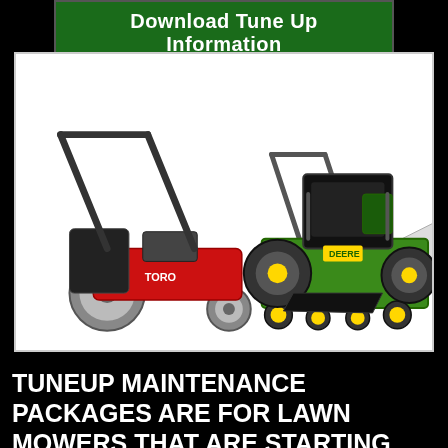Download Tune Up Information
[Figure (photo): Three lawn mowers: a red Toro push mower (left), an orange Husqvarna push mower (center), and a large green John Deere commercial walk-behind mower (right)]
TUNEUP MAINTENANCE PACKAGES ARE FOR LAWN MOWERS THAT ARE STARTING AND RUNNING SMOOTHLY WITH THE CHOKE OFF.